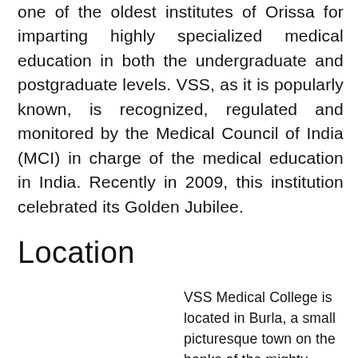one of the oldest institutes of Orissa for imparting highly specialized medical education in both the undergraduate and postgraduate levels. VSS, as it is popularly known, is recognized, regulated and monitored by the Medical Council of India (MCI) in charge of the medical education in India. Recently in 2009, this institution celebrated its Golden Jubilee.
Location
VSS Medical College is located in Burla, a small picturesque town on the banks of the mighty Mahanadi River in Sambalpur district of Western Orissa, only 15 km away from the City of Sambalpur. Established in...